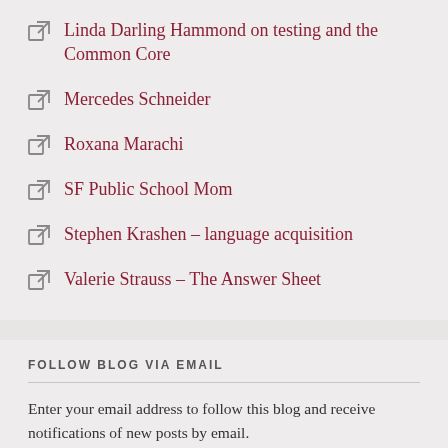Linda Darling Hammond on testing and the Common Core
Mercedes Schneider
Roxana Marachi
SF Public School Mom
Stephen Krashen – language acquisition
Valerie Strauss – The Answer Sheet
FOLLOW BLOG VIA EMAIL
Enter your email address to follow this blog and receive notifications of new posts by email.